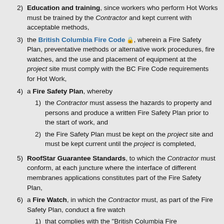2) Education and training, since workers who perform Hot Works must be trained by the Contractor and kept current with acceptable methods,
3) the British Columbia Fire Code, wherein a Fire Safety Plan, preventative methods or alternative work procedures, fire watches, and the use and placement of equipment at the project site must comply with the BC Fire Code requirements for Hot Work,
4) a Fire Safety Plan, whereby
1) the Contractor must assess the hazards to property and persons and produce a written Fire Safety Plan prior to the start of work, and
2) the Fire Safety Plan must be kept on the project site and must be kept current until the project is completed,
5) RoofStar Guarantee Standards, to which the Contractor must conform, at each juncture where the interface of different membranes applications constitutes part of the Fire Safety Plan,
6) a Fire Watch, in which the Contractor must, as part of the Fire Safety Plan, conduct a fire watch
1) that complies with the "British Columbia Fire Code",